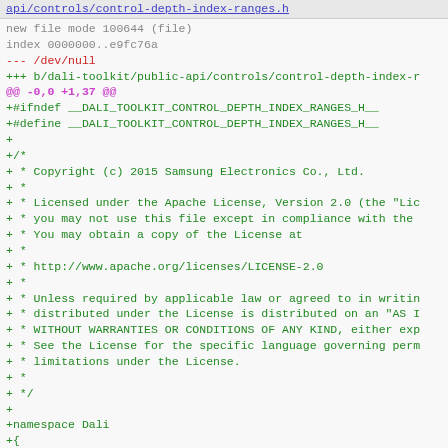api/controls/control-depth-index-ranges.h
new file mode 100644 (file)
index 0000000..e9fc76a
--- /dev/null
+++ b/dali-toolkit/public-api/controls/control-depth-index-r
@@ -0,0 +1,37 @@
+#ifndef __DALI_TOOLKIT_CONTROL_DEPTH_INDEX_RANGES_H__
+#define __DALI_TOOLKIT_CONTROL_DEPTH_INDEX_RANGES_H__
+
+/*
+ * Copyright (c) 2015 Samsung Electronics Co., Ltd.
+ *
+ * Licensed under the Apache License, Version 2.0 (the "Lic
+ * you may not use this file except in compliance with the
+ * You may obtain a copy of the License at
+ *
+ * http://www.apache.org/licenses/LICENSE-2.0
+ *
+ * Unless required by applicable law or agreed to in writin
+ * distributed under the License is distributed on an "AS I
+ * WITHOUT WARRANTIES OR CONDITIONS OF ANY KIND, either exp
+ * See the License for the specific language governing perm
+ * limitations under the License.
+ *
+ */
+
+namespace Dali
+{
+namespace Toolkit
+{
+enum ControlDepthIndexRanges
+{